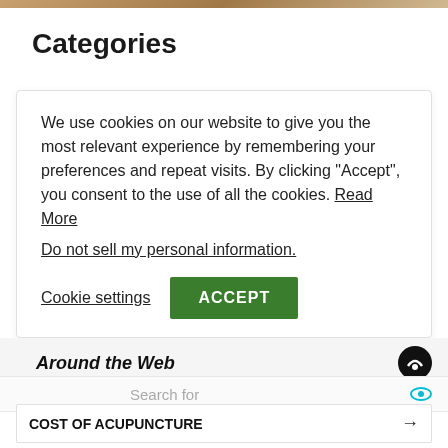[Figure (photo): Partial photo strip at top of page, brownish/warm tones]
Categories
We use cookies on our website to give you the most relevant experience by remembering your preferences and repeat visits. By clicking “Accept”, you consent to the use of all the cookies. Read More
Do not sell my personal information.
Cookie settings   ACCEPT
Around the Web
Search for
COST OF ACUPUNCTURE →
BEST VITAMINS FOR ARTHRITIS →
Ad | Business Focus